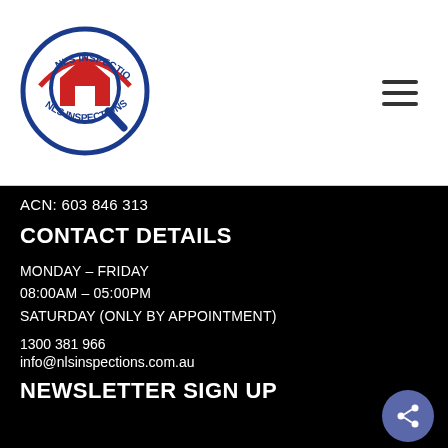[Figure (logo): NLS Inspections circular logo with house/magnifying glass icon]
ACN: 603 846 313
CONTACT DETAILS
MONDAY – FRIDAY
08:00AM – 05:00PM
SATURDAY (ONLY BY APPOINTMENT)
1300 381 966
info@nlsinspections.com.au
NEWSLETTER SIGN UP